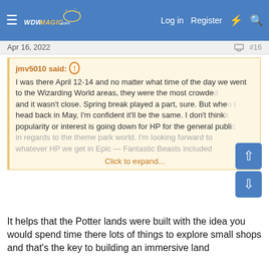WDWmagic.com — Log in  Register
Apr 16, 2022  #16
jmv5010 said: I was there April 12-14 and no matter what time of the day we went to the Wizarding World areas, they were the most crowded and it wasn't close. Spring break played a part, sure. But when I head back in May, I'm confident it'll be the same. I don't think popularity or interest is going down for HP for the general public in regards to the theme park world. I'm looking forward to whatever HP we get in Epic — Fantastic Beasts included
Click to expand...
It helps that the Potter lands were built with the idea you would spend time there lots of things to explore small shops and that's the key to building an immersive land
Reply
thejester, Magenta Panther, Jon81uk and 2 others